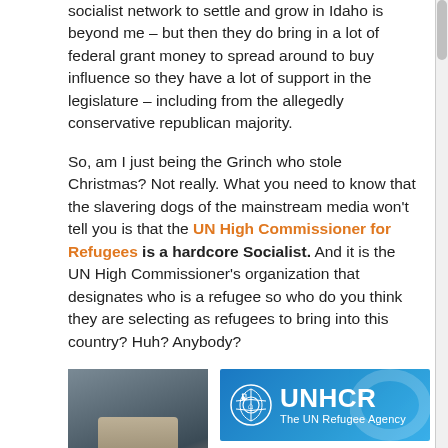socialist network to settle and grow in Idaho is beyond me – but then they do bring in a lot of federal grant money to spread around to buy influence so they have a lot of support in the legislature – including from the allegedly conservative republican majority.
So, am I just being the Grinch who stole Christmas? Not really. What you need to know that the slavering dogs of the mainstream media won't tell you is that the UN High Commissioner for Refugees is a hardcore Socialist. And it is the UN High Commissioner's organization that designates who is a refugee so who do you think they are selecting as refugees to bring into this country? Huh? Anybody?
[Figure (photo): Photo of a man in a dark suit speaking at a microphone, identified as The High Commissioner]
The High Commissioner
[Figure (logo): UNHCR - The UN Refugee Agency banner logo on blue background]
Vice President of Socialist International (1992-1999)
President of the Socialist International (1999-2005)